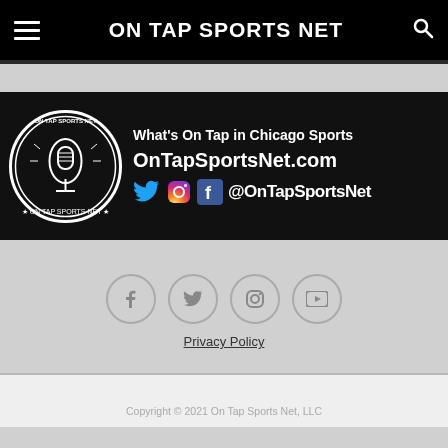ON TAP SPORTS NET
[Figure (screenshot): On Tap Sports Net promotional banner with logo, tagline 'What's On Tap in Chicago Sports', website URL 'OnTapSportsNet.com', Twitter, Instagram, Facebook icons and '@OnTapSportsNet' handle]
Privacy Policy
Copyright © 2021 On Tap Sports Net, LLC